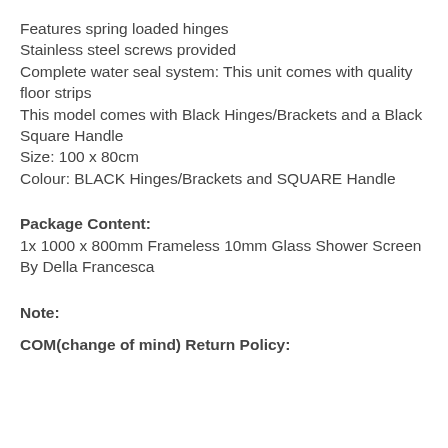Features spring loaded hinges
Stainless steel screws provided
Complete water seal system: This unit comes with quality floor strips
This model comes with Black Hinges/Brackets and a Black Square Handle
Size: 100 x 80cm
Colour: BLACK Hinges/Brackets and SQUARE Handle
Package Content:
1x 1000 x 800mm Frameless 10mm Glass Shower Screen By Della Francesca
Note:
COM(change of mind) Return Policy: